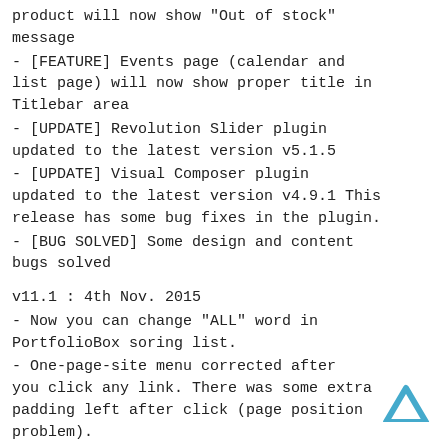product will now show "Out of stock" message
- [FEATURE] Events page (calendar and list page) will now show proper title in Titlebar area
- [UPDATE] Revolution Slider plugin updated to the latest version v5.1.5
- [UPDATE] Visual Composer plugin updated to the latest version v4.9.1 This release has some bug fixes in the plugin.
- [BUG SOLVED] Some design and content bugs solved
v11.1 : 4th Nov. 2015
- Now you can change "ALL" word in PortfolioBox soring list.
- One-page-site menu corrected after you click any link. There was some extra padding left after click (page position problem).
- MIN version will be generated automatically when you update the theme. So you don't need to re-create (via one